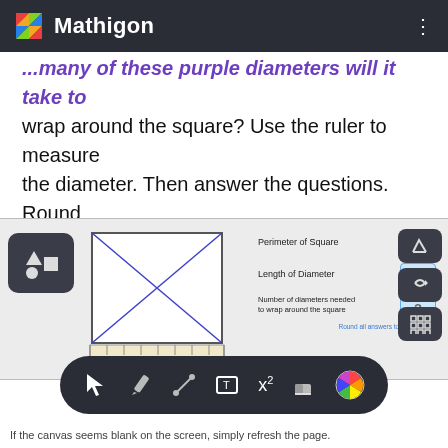Mathigon
...many of these purple diameters will it take to wrap around the square? Use the ruler to measure the diameter. Then answer the questions. Round answers to the tenths place as needed.
[Figure (screenshot): Interactive Mathigon activity showing a square with diagonals drawn, a ruler below it, and three input fields labeled Perimeter of Square, Length of Diameter, and Number of diameters needed to wrap around the square, each showing a '?' placeholder. Toolbar with shapes, undo, redo, and grid buttons.]
If the canvas seems blank on the screen, simply refresh the page.